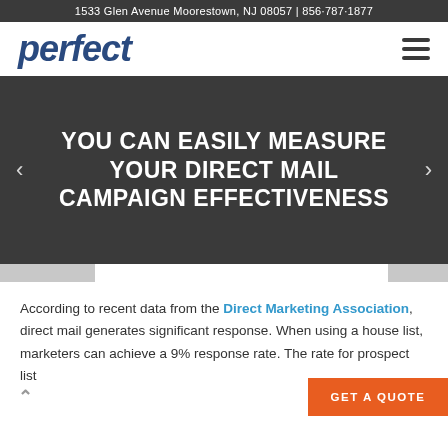1533 Glen Avenue Moorestown, NJ 08057 | 856·787·1877
perfect
YOU CAN EASILY MEASURE YOUR DIRECT MAIL CAMPAIGN EFFECTIVENESS
According to recent data from the Direct Marketing Association, direct mail generates significant response. When using a house list, marketers can achieve a 9% response rate. The rate for prospect list